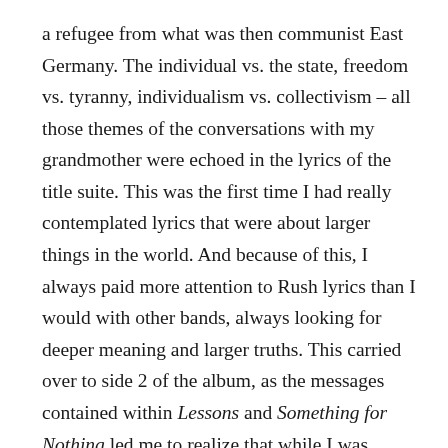a refugee from what was then communist East Germany. The individual vs. the state, freedom vs. tyranny, individualism vs. collectivism – all those themes of the conversations with my grandmother were echoed in the lyrics of the title suite. This was the first time I had really contemplated lyrics that were about larger things in the world. And because of this, I always paid more attention to Rush lyrics than I would with other bands, always looking for deeper meaning and larger truths. This carried over to side 2 of the album, as the messages contained within Lessons and Something for Nothing led me to realize that while I was fortunate enough to have been born in a relatively free country, it was my own responsibility to make the most, and best, of that freedom.